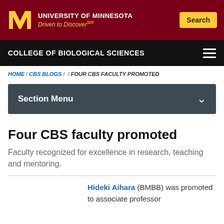University of Minnesota — Driven to Discover℠
COLLEGE OF BIOLOGICAL SCIENCES
HOME / CBS BLOGS / / FOUR CBS FACULTY PROMOTED
Section Menu
Four CBS faculty promoted
Faculty recognized for excellence in research, teaching and mentoring.
Hideki Aihara (BMBB) was promoted to associate professor